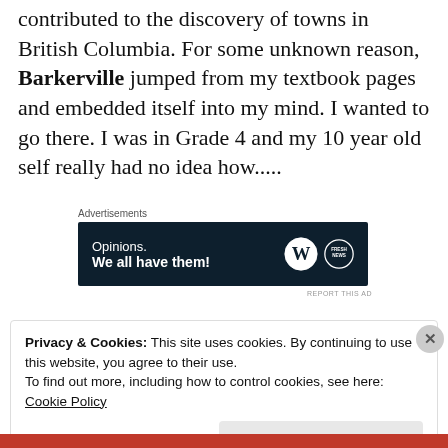contributed to the discovery of towns in British Columbia. For some unknown reason, Barkerville jumped from my textbook pages and embedded itself into my mind. I wanted to go there. I was in Grade 4 and my 10 year old self really had no idea how.....
[Figure (other): Advertisement banner with dark navy background. Text reads: 'Opinions. We all have them!' with WordPress and FreshNews logos on the right.]
Privacy & Cookies: This site uses cookies. By continuing to use this website, you agree to their use.
To find out more, including how to control cookies, see here: Cookie Policy
Close and accept